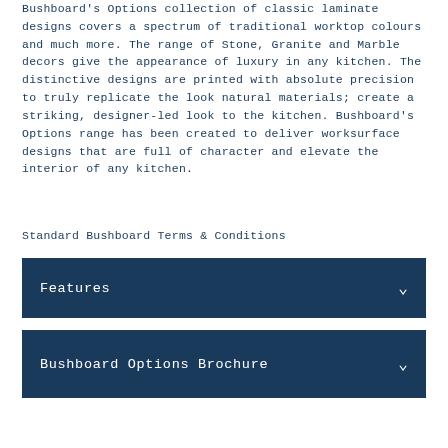Bushboard's Options collection of classic laminate designs covers a spectrum of traditional worktop colours and much more. The range of Stone, Granite and Marble decors give the appearance of luxury in any kitchen. The distinctive designs are printed with absolute precision to truly replicate the look natural materials; create a striking, designer-led look to the kitchen. Bushboard's Options range has been created to deliver worksurface designs that are full of character and elevate the interior of any kitchen.
Standard Bushboard Terms & Conditions
Features
Bushboard Options Brochure